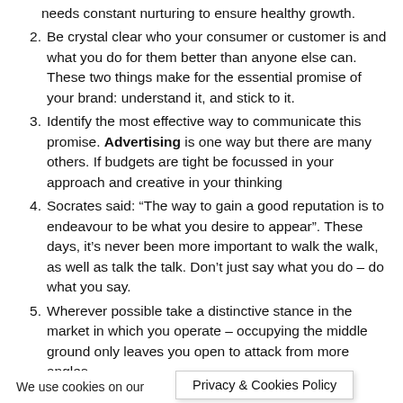needs constant nurturing to ensure healthy growth.
2. Be crystal clear who your consumer or customer is and what you do for them better than anyone else can. These two things make for the essential promise of your brand: understand it, and stick to it.
3. Identify the most effective way to communicate this promise. Advertising is one way but there are many others. If budgets are tight be focussed in your approach and creative in your thinking
4. Socrates said: “The way to gain a good reputation is to endeavour to be what you desire to appear”. These days, it’s never been more important to walk the walk, as well as talk the talk. Don’t just say what you do – do what you say.
5. Wherever possible take a distinctive stance in the market in which you operate – occupying the middle ground only leaves you open to attack from more angles.
6. Never stop expanding your knowledge of your customer – but don’t expect ans…
We use cookies on our … ost
Privacy & Cookies Policy